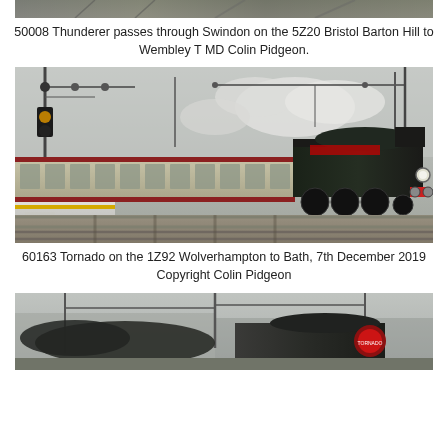[Figure (photo): Partial photo at top of page showing train/railway scene - 50008 Thunderer passing through Swindon]
50008 Thunderer passes through Swindon on the 5Z20 Bristol Barton Hill to Wembley T MD Colin Pidgeon.
[Figure (photo): Steam locomotive 60163 Tornado on the 1Z92 Wolverhampton to Bath service at a station with overhead electrification gantries, 7th December 2019]
60163 Tornado on the 1Z92 Wolverhampton to Bath, 7th December 2019 Copyright Colin Pidgeon
[Figure (photo): Partial photo at bottom showing steam locomotive 60163 at a station, grey overcast sky]